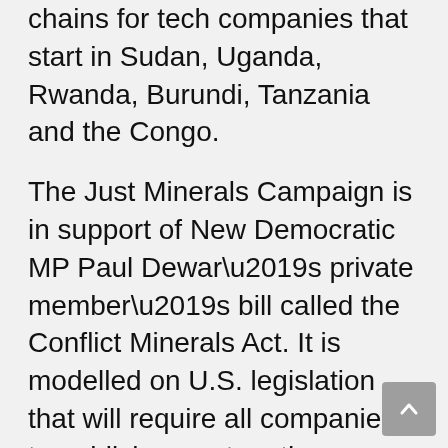chains for tech companies that start in Sudan, Uganda, Rwanda, Burundi, Tanzania and the Congo.
The Just Minerals Campaign is in support of New Democratic MP Paul Dewar’s private member’s bill called the Conflict Minerals Act. It is modelled on U.S. legislation that will require all companies to publicly report on the source of minerals used their products.
“We would like to indicate there is support in this community,” Van Houten said. “We would also like to create consumer awareness and create demand for a fair trade cellphone.” The young woman wrote